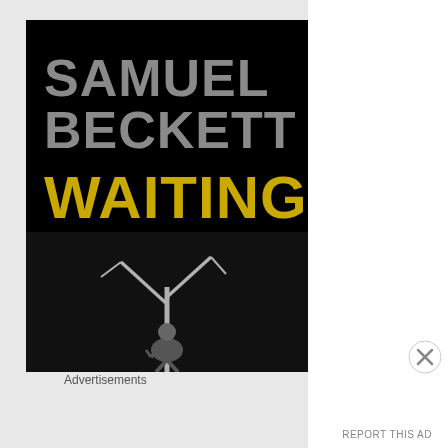[Figure (illustration): Book cover of 'Waiting for Godot' by Samuel Beckett. Black background with large gray bold text 'SAMUEL BECKETT' at top, large yellow/gold bold text 'WAITING FOR GODOT' in the middle, and a grayscale photo of a figure seated under a bare tree at the bottom.]
Advertisements
REPORT THIS AD